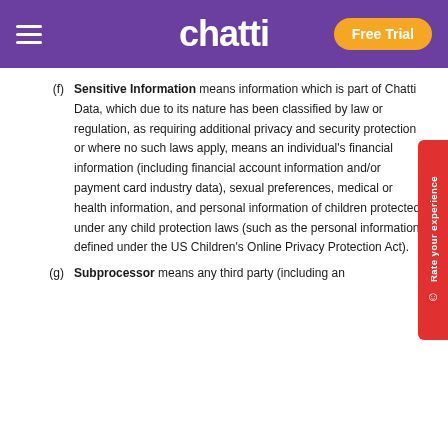chatti — Free Trial
(f) Sensitive Information means information which is part of Chatti Data, which due to its nature has been classified by law or regulation, as requiring additional privacy and security protection or where no such laws apply, means an individual's financial information (including financial account information and/or payment card industry data), sexual preferences, medical or health information, and personal information of children protected under any child protection laws (such as the personal information defined under the US Children's Online Privacy Protection Act).
(g) Subprocessor means any third party (including an